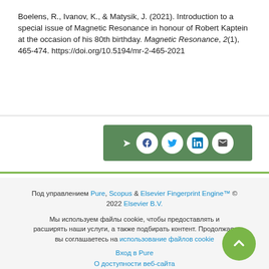Boelens, R., Ivanov, K., & Matysik, J. (2021). Introduction to a special issue of Magnetic Resonance in honour of Robert Kaptein at the occasion of his 80th birthday. Magnetic Resonance, 2(1), 465-474. https://doi.org/10.5194/mr-2-465-2021
[Figure (other): Social share bar with icons for share, Facebook, Twitter, LinkedIn, and email on a green background]
Под управлением Pure, Scopus & Elsevier Fingerprint Engine™ © 2022 Elsevier B.V.
Мы используем файлы cookie, чтобы предоставлять и расширять наши услуги, а также подбирать контент. Продолжая, вы соглашаетесь на использование файлов cookie
Вход в Pure
О доступности веб-сайта
Связаться с нами